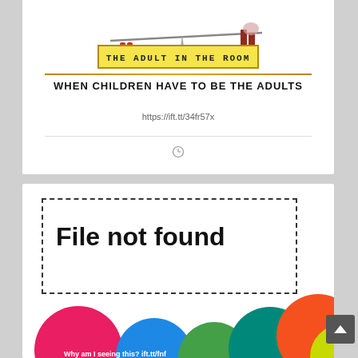[Figure (illustration): Illustration of children at a playground/seesaw, partial view of book cover 'The Adult in the Room']
WHEN CHILDREN HAVE TO BE THE ADULTS
https://ift.tt/34fr57x
[Figure (screenshot): File not found error page with colorful bubbles at bottom and text 'Why am I seeing this? ift.tt/fnf']